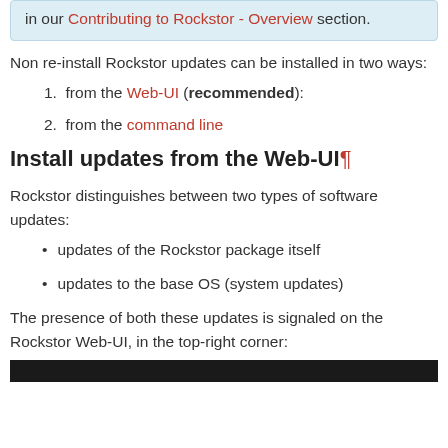in our Contributing to Rockstor - Overview section.
Non re-install Rockstor updates can be installed in two ways:
1. from the Web-UI (recommended):
2. from the command line
Install updates from the Web-UI¶
Rockstor distinguishes between two types of software updates:
updates of the Rockstor package itself
updates to the base OS (system updates)
The presence of both these updates is signaled on the Rockstor Web-UI, in the top-right corner:
[Figure (screenshot): Black bar at bottom of page, bottom of a screenshot]